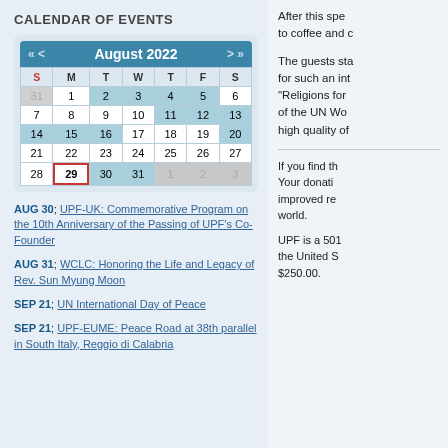CALENDAR OF EVENTS
[Figure (other): August 2022 calendar widget with navigation arrows, days of week headers, and date cells. Teal highlighted cells for dates 2,3,4,5,11,12,13,14,15,16,20,30,31. Date 29 has red border outline. Dates 1,2,3 of next month are greyed out. Date 31 of previous month is greyed out.]
AUG 30; UPF-UK: Commemorative Program on the 10th Anniversary of the Passing of UPF's Co-Founder
AUG 31; WCLC: Honoring the Life and Legacy of Rev. Sun Myung Moon
SEP 21; UN International Day of Peace
SEP 21; UPF-EUME: Peace Road at 38th parallel in South Italy, Reggio di Calabria
After this spe to coffee and c
The guests sta for such an int "Religions for of the UN Wo high quality of
If you find th Your donati improved re world.
UPF is a 501 the United S $250.00.